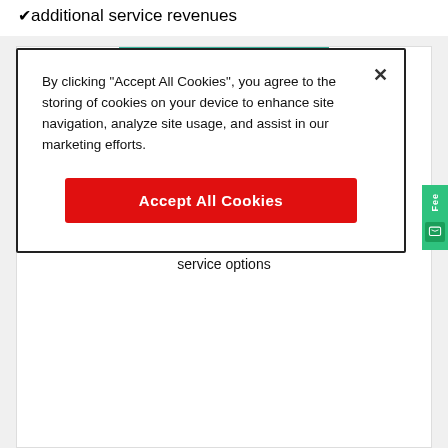additional service revenues
By clicking "Accept All Cookies", you agree to the storing of cookies on your device to enhance site navigation, analyze site usage, and assist in our marketing efforts.
Accept All Cookies
[Figure (illustration): Green protect banner with hand icon and PROTECT text]
EssentialCare for Entertainment
EssentialCare maintenance contract & supplementary service options